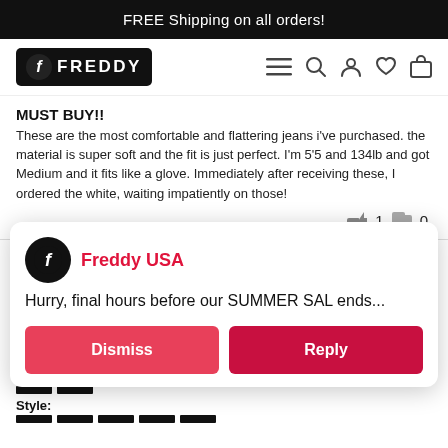FREE Shipping on all orders!
[Figure (logo): Freddy brand logo with stylized F icon on black background]
MUST BUY!!
These are the most comfortable and flattering jeans i've purchased. the material is super soft and the fit is just perfect. I'm 5'5 and 134lb and got Medium and it fits like a glove. Immediately after receiving these, I ordered the white, waiting impatiently on those!
👍 1  👎 0
★★★★★ 09/30/2021  Verified  Adam Leisten (Cincinnati, United States)
How likely are you to recommend Freddy to a friend?
Size:
True to size
Comfort:
Style:
[Figure (screenshot): Freddy USA popup notification with Dismiss and Reply buttons. Message: Hurry, final hours before our SUMMER SAL ends...]